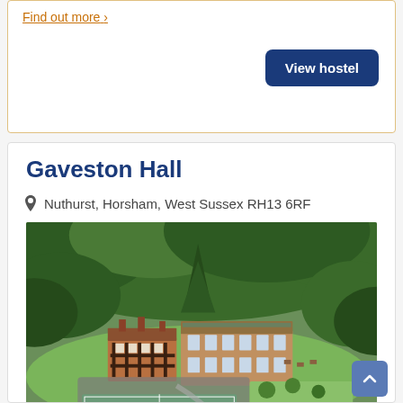Find out more >
View hostel
Gaveston Hall
Nuthurst, Horsham, West Sussex RH13 6RF
[Figure (photo): Aerial photograph of Gaveston Hall, a former boarding school with red brick buildings surrounded by woodland and with tennis courts visible in the foreground]
A former boarding school nestling in beautiful countryside, Gaveston Hall accommodates groups of all sizes. The 100 beds a